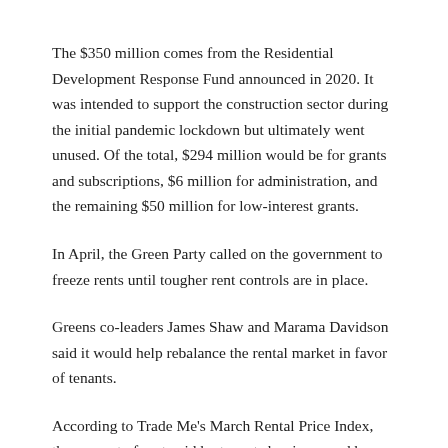The $350 million comes from the Residential Development Response Fund announced in 2020. It was intended to support the construction sector during the initial pandemic lockdown but ultimately went unused. Of the total, $294 million would be for grants and subscriptions, $6 million for administration, and the remaining $50 million for low-interest grants.
In April, the Green Party called on the government to freeze rents until tougher rent controls are in place.
Greens co-leaders James Shaw and Marama Davidson said it would help rebalance the rental market in favor of tenants.
According to Trade Me's March Rental Price Index, the amount of rent paid by tenants has increased by about 7% over the past year to the end of March and now stands at around $575 per year. week.